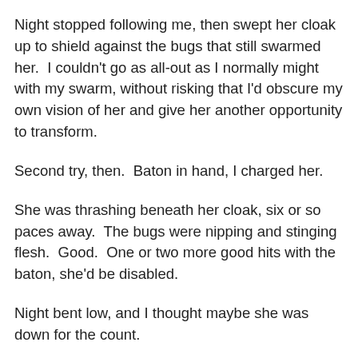Night stopped following me, then swept her cloak up to shield against the bugs that still swarmed her.  I couldn't go as all-out as I normally might with my swarm, without risking that I'd obscure my own vision of her and give her another opportunity to transform.
Second try, then.  Baton in hand, I charged her.
She was thrashing beneath her cloak, six or so paces away.  The bugs were nipping and stinging flesh.  Good.  One or two more good hits with the baton, she'd be disabled.
Night bent low, and I thought maybe she was down for the count.
Then she swept her cloak off and threw it up into the air.  It